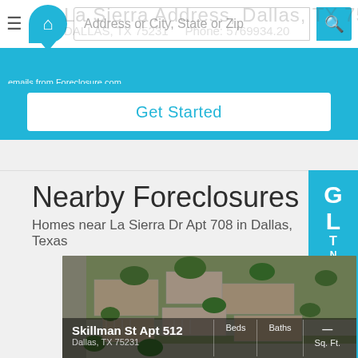Address or City, State or Zip
emails from Foreclosure.com.
Get Started
Nearby Foreclosures
Homes near La Sierra Dr Apt 708 in Dallas, Texas
[Figure (photo): Aerial view of apartment complex with parking lots and trees]
Skillman St Apt 512
Dallas, TX 75231
Beds | Baths | — 
Sq. Ft.